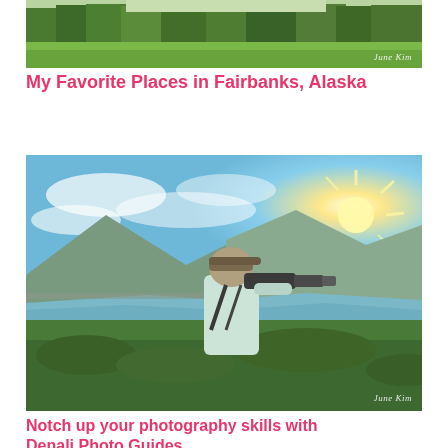[Figure (photo): Landscape photo showing green grassy field with trees in background, top portion of image, watermark reads 'June Kim']
My Favorite Places in Fairbanks, Alaska
[Figure (photo): Photographer with camera and telephoto lens shooting towards a river and mountains with sun bursting through clouds, watermark reads 'June Kim']
Notch up your photography skills with Denali Photo Guides